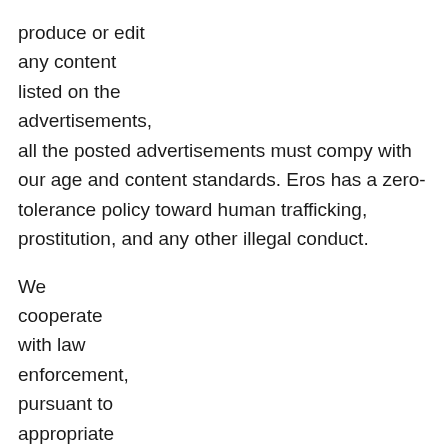produce or edit any content listed on the advertisements, all the posted advertisements must compy with our age and content standards. Eros has a zero-tolerance policy toward human trafficking, prostitution, and any other illegal conduct.
We cooperate with law enforcement, pursuant to appropriate process, such as a subpoena, in investigating criminal